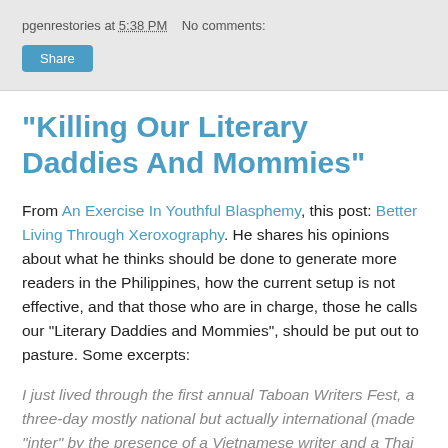pgenrestories at 5:38 PM   No comments:
Share
"Killing Our Literary Daddies And Mommies"
From An Exercise In Youthful Blasphemy, this post: Better Living Through Xeroxography. He shares his opinions about what he thinks should be done to generate more readers in the Philippines, how the current setup is not effective, and that those who are in charge, those he calls our "Literary Daddies and Mommies", should be put out to pasture. Some excerpts:
I just lived through the first annual Taboan Writers Fest, a three-day mostly national but actually international (made “inter” by the presence of a Vietnamese writer and a Thai filmmaker) summit of writers, mostly under forty years old, set to talk about the various issues that surround the